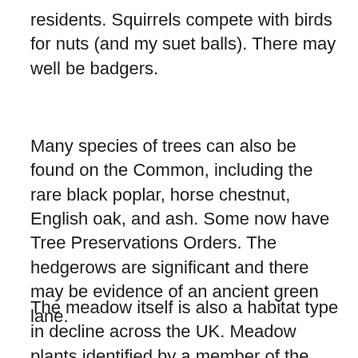residents. Squirrels compete with birds for nuts (and my suet balls). There may well be badgers.
Many species of trees can also be found on the Common, including the rare black poplar, horse chestnut, English oak, and ash. Some now have Tree Preservations Orders. The hedgerows are significant and there may be evidence of an ancient green lane.
The meadow itself is also a habitat type in decline across the UK. Meadow plants identified by a member of the group include common sorrel, red clover, white clover, meadow buttercup, creeping buttercup, common knapweed, common cats ear, creeping thistle, birds foot